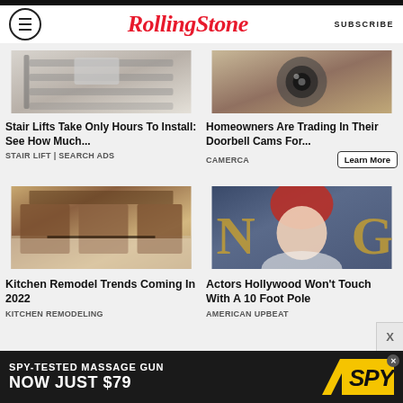RollingStone | SUBSCRIBE
[Figure (photo): Stair lift installation photo showing stairs with lift rail]
Stair Lifts Take Only Hours To Install: See How Much...
STAIR LIFT | SEARCH ADS
[Figure (photo): Doorbell security camera close-up photo]
Homeowners Are Trading In Their Doorbell Cams For...
CAMERCA
[Figure (photo): Kitchen remodel showing dark granite countertops and brown cabinets]
Kitchen Remodel Trends Coming In 2022
KITCHEN REMODELING
[Figure (photo): Red-haired actress at Hollywood event with gold letters in background]
Actors Hollywood Won't Touch With A 10 Foot Pole
AMERICAN UPBEAT
[Figure (infographic): Bottom advertisement: SPY-TESTED MASSAGE GUN NOW JUST $79 with SPY logo]